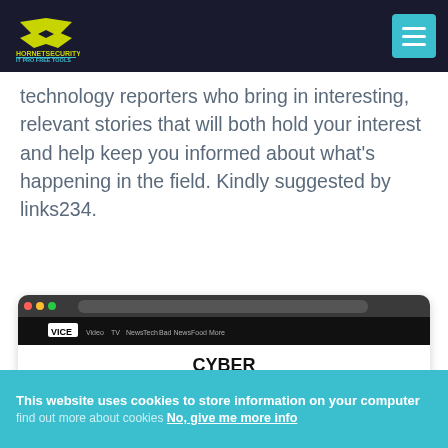Hornetsecurity IT Pro Free Tools
technology reporters who bring in interesting, relevant stories that will both hold your interest and help keep you informed about what's happening in the field. Kindly suggested by links234.
[Figure (screenshot): Screenshot of a website showing a 'CYBER' section with three news articles about tech topics, displayed in a browser window mockup.]
This website uses cookies to store information on your computer find out more about cookies No, give me more info